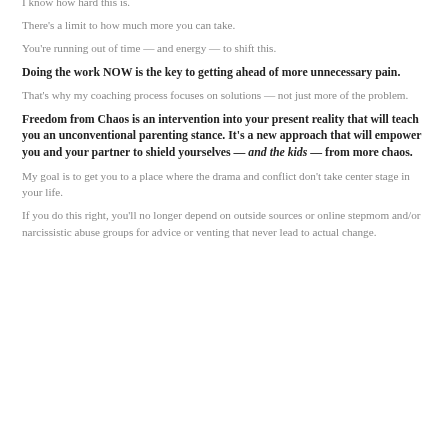I know how hard this is.
There's a limit to how much more you can take.
You're running out of time — and energy — to shift this.
Doing the work NOW is the key to getting ahead of more unnecessary pain.
That's why my coaching process focuses on solutions — not just more of the problem.
Freedom from Chaos is an intervention into your present reality that will teach you an unconventional parenting stance. It's a new approach that will empower you and your partner to shield yourselves — and the kids — from more chaos.
My goal is to get you to a place where the drama and conflict don't take center stage in your life.
If you do this right, you'll no longer depend on outside sources or online stepmom and/or narcissistic abuse groups for advice or venting that never lead to actual change.